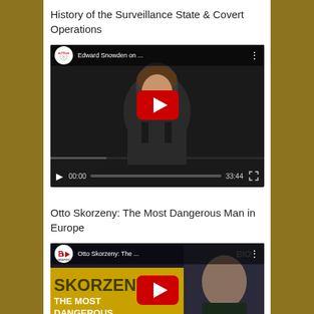History of the Surveillance State & Covert Operations
[Figure (screenshot): YouTube video embed showing Edward Snowden interview, duration 33:44, from acTVism channel]
Otto Skorzeny: The Most Dangerous Man in Europe
[Figure (screenshot): YouTube video embed showing Otto Skorzeny biography thumbnail from Biographics channel with title 'THE MOST DANGEROUS IN EUROPE']